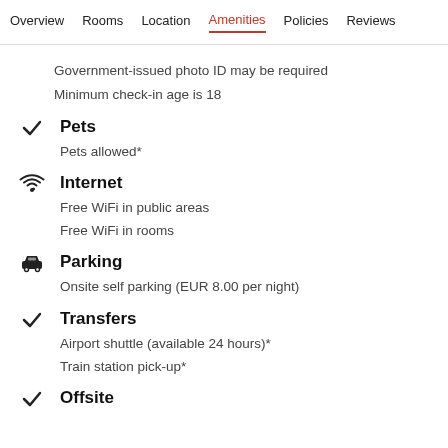Overview  Rooms  Location  Amenities  Policies  Reviews
Government-issued photo ID may be required
Minimum check-in age is 18
Pets
Pets allowed*
Internet
Free WiFi in public areas
Free WiFi in rooms
Parking
Onsite self parking (EUR 8.00 per night)
Transfers
Airport shuttle (available 24 hours)*
Train station pick-up*
Offsite